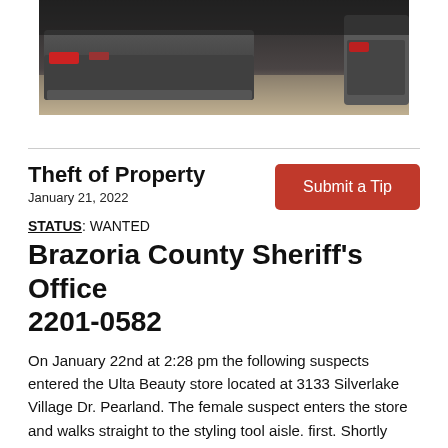[Figure (photo): Partial photo of dark-colored sedan vehicles in a parking garage or lot, taken from behind, dark/dim lighting]
Theft of Property
January 21, 2022
Submit a Tip
STATUS: WANTED
Brazoria County Sheriff's Office 2201-0582
On January 22nd at 2:28 pm the following suspects entered the Ulta Beauty store located at 3133 Silverlake Village Dr. Pearland. The female suspect enters the store and walks straight to the styling tool aisle. first. Shortly afterwards a white male enters the store and meets with the female at the styling tool aisle.  The two suspect exchange words, look at items down the aisle, then separate.